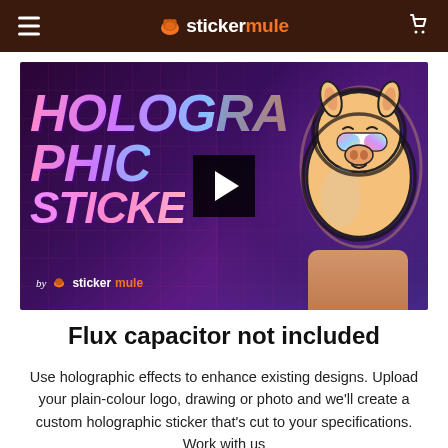stickermule
[Figure (screenshot): Video thumbnail showing holographic sticker promotional content with 'HOLOGRAPHIC STICKER' text in gradient colors on a purple/dark background, a holographic mule sticker held by a hand on the right, play button overlay in center, and 'by stickermule' watermark in bottom left.]
Flux capacitor not included
Use holographic effects to enhance existing designs. Upload your plain-colour logo, drawing or photo and we'll create a custom holographic sticker that's cut to your specifications. Work with us